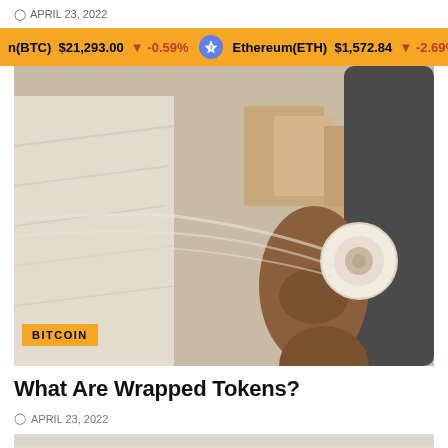APRIL 23, 2022
n(BTC) $21,293.00 ↓ -0.59%   Ethereum(ETH) $1,572.84 ↓ -2.69%
[Figure (photo): Person wrapping furniture or boxes with stretch plastic wrap film. Boxes visible in background. BITCOIN category badge overlaid at bottom left.]
What Are Wrapped Tokens?
APRIL 23, 2022
[Figure (photo): Partial view of next article preview image, mostly obscured/cropped at bottom of page.]